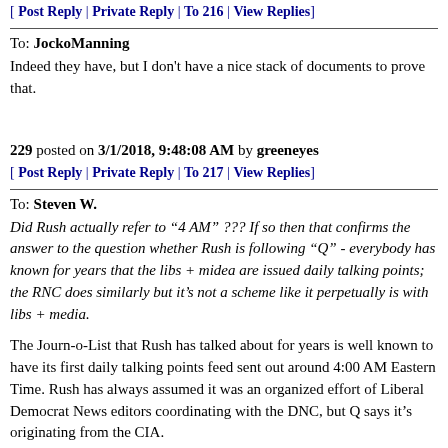[ Post Reply | Private Reply | To 216 | View Replies]
To: JockoManning
Indeed they have, but I don't have a nice stack of documents to prove that.
229 posted on 3/1/2018, 9:48:08 AM by greeneyes
[ Post Reply | Private Reply | To 217 | View Replies]
To: Steven W.
Did Rush actually refer to “4 AM” ??? If so then that confirms the answer to the question whether Rush is following “Q” - everybody has known for years that the libs + midea are issued daily talking points; the RNC does similarly but it’s not a scheme like it perpetually is with libs + media.
The Journ-o-List that Rush has talked about for years is well known to have its first daily talking points feed sent out around 4:00 AM Eastern Time. Rush has always assumed it was an organized effort of Liberal Democrat News editors coordinating with the DNC, but Q says it’s originating from the CIA.
So Rush predates Q with the 4AM meme.